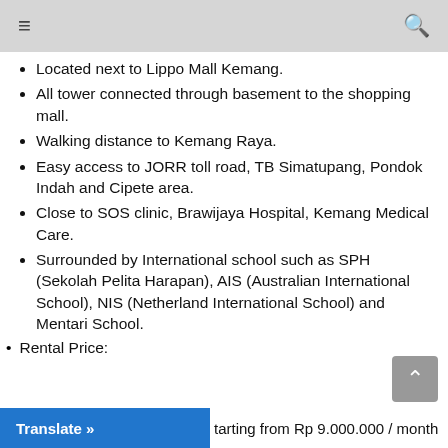≡  🔍
Located next to Lippo Mall Kemang.
All tower connected through basement to the shopping mall.
Walking distance to Kemang Raya.
Easy access to JORR toll road, TB Simatupang, Pondok Indah and Cipete area.
Close to SOS clinic, Brawijaya Hospital, Kemang Medical Care.
Surrounded by International school such as SPH (Sekolah Pelita Harapan), AIS (Australian International School), NIS (Netherland International School) and Mentari School.
Rental Price:
starting from Rp 9.000.000 / month